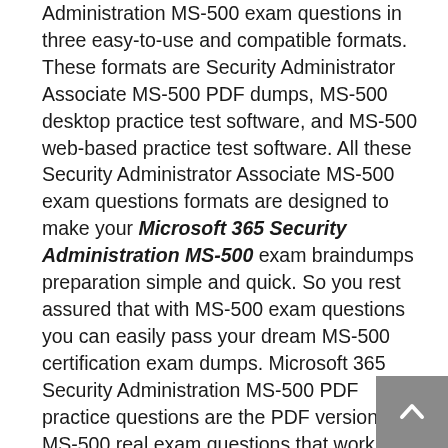Administration MS-500 exam questions in three easy-to-use and compatible formats. These formats are Security Administrator Associate MS-500 PDF dumps, MS-500 desktop practice test software, and MS-500 web-based practice test software. All these Security Administrator Associate MS-500 exam questions formats are designed to make your Microsoft 365 Security Administration MS-500 exam braindumps preparation simple and quick. So you rest assured that with MS-500 exam questions you can easily pass your dream MS-500 certification exam dumps. Microsoft 365 Security Administration MS-500 PDF practice questions are the PDF version of MS-500 real exam questions that work with desktops, tabs, smartphones, and laptops. Just download MS-500 PDF practice questions and start Security Administrator Associate MS-500 exam dumps